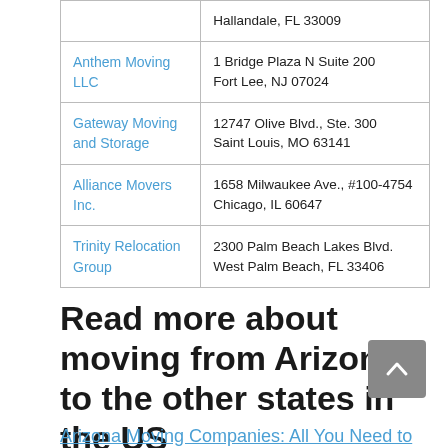| Company | Address |
| --- | --- |
| Anthem Moving LLC | 1 Bridge Plaza N Suite 200
Fort Lee, NJ 07024 |
| Gateway Moving and Storage | 12747 Olive Blvd., Ste. 300
Saint Louis, MO 63141 |
| Alliance Movers Inc. | 1658 Milwaukee Ave., #100-4754
Chicago, IL 60647 |
| Trinity Relocation Group | 2300 Palm Beach Lakes Blvd.
West Palm Beach, FL 33406 |
Read more about moving from Arizona to the other states in the US
Arizona Moving Companies: All You Need to